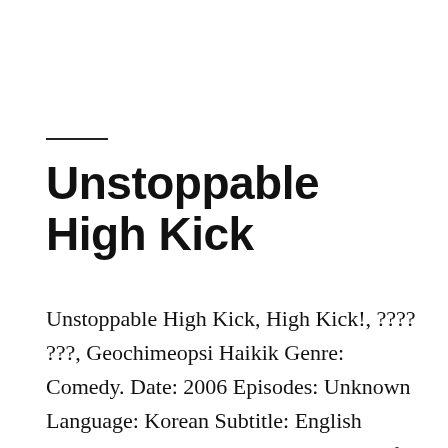Unstoppable High Kick
Unstoppable High Kick, High Kick!, ???? ???, Geochimeopsi Haikik Genre: Comedy. Date: 2006 Episodes: Unknown Language: Korean Subtitle: English Synopsis: Lee Sun Jae plays the head of the Lee family and a hospital. He is only a "’’’see you’’’" in front of